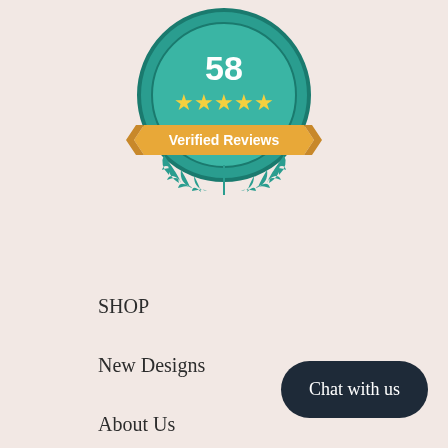[Figure (illustration): A teal circular badge showing the number 58 at top, five yellow stars below, an orange/yellow ribbon banner reading 'Verified Reviews', and teal laurel leaves at the bottom.]
SHOP
New Designs
About Us
Size Guide
Belle Threads Gives Back
Tutu Dreams Blog
Chat with us